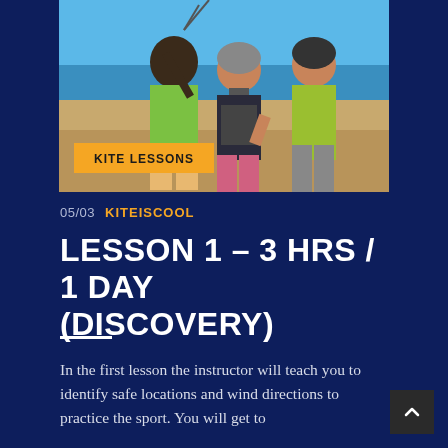[Figure (photo): Three people on a beach posing together — a man in a green shirt holding kite lines, and two women wearing helmets and kite harnesses, smiling. Beach and ocean visible in background. Orange 'KITE LESSONS' banner overlaid at bottom-left.]
05/03   KITEISCOOL
LESSON 1 – 3 HRS / 1 DAY (DISCOVERY)
In the first lesson the instructor will teach you to identify safe locations and wind directions to practice the sport. You will get to